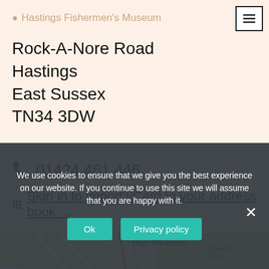Hastings Fishermen's Museum
Rock-A-Nore Road
Hastings
East Sussex
TN34 3DW
📞 01424 461 446
Sign in to import vCard to your address book ...
[Figure (map): Street map showing area around Hastings including High Wickham and Ecclesbourne Glen labels, with a zoom-in (+) button]
We use cookies to ensure that we give you the best experience on our website. If you continue to use this site we will assume that you are happy with it.